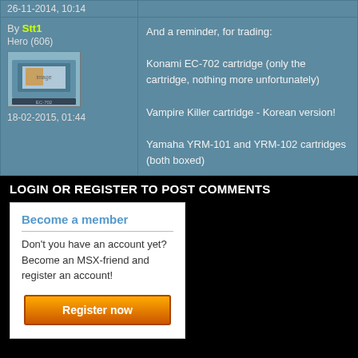26-11-2014, 10:14
By Stt1
Hero (606)
18-02-2015, 01:44
And a reminder, for trading:

Konami EC-702 cartridge (only the cartridge, nothing more unfortunately)

Vampire Killer cartridge - Korean version!

Yamaha YRM-101 and YRM-102 cartridges (both boxed)
LOGIN OR REGISTER TO POST COMMENTS
Become a member
Don't you have an account yet? Become an MSX-friend and register an account!
Register now
© 1996-2022 Microcomputer & Related Culture Foundation. MSX is a trademark of MSX Licensing Corporation. | Terms and conditions | Privacy policy